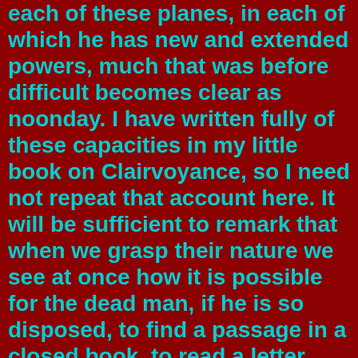each of these planes, in each of which he has new and extended powers, much that was before difficult becomes clear as noonday. I have written fully of these capacities in my little book on Clairvoyance, so I need not repeat that account here. It will be sufficient to remark that when we grasp their nature we see at once how it is possible for the dead man, if he is so disposed, to find a passage in a closed book, to read a letter inside a locked box, to see and report what is happening at any distance, or to read the thoughts of any person, present or absent.

    All that the dead man does along any of these lines can be done with equal facility by the living man who has developed his